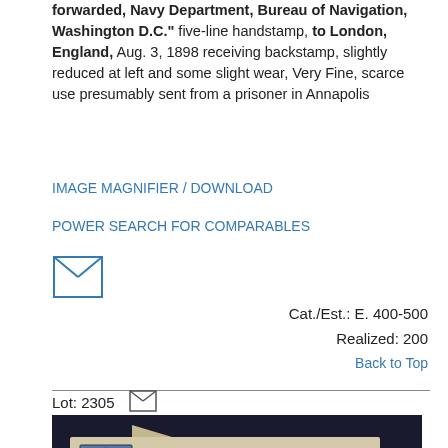forwarded, Navy Department, Bureau of Navigation, Washington D.C." five-line handstamp, to London, England, Aug. 3, 1898 receiving backstamp, slightly reduced at left and some slight wear, Very Fine, scarce use presumably sent from a prisoner in Annapolis
IMAGE MAGNIFIER / DOWNLOAD
POWER SEARCH FOR COMPARABLES
[Figure (illustration): Envelope icon (letter/mail symbol)]
Cat./Est.: E. 400-500
Realized: 200
Back to Top
Lot: 2305
[Figure (photo): Photograph of an antique envelope/cover addressed to Spain, with a blue stamp featuring a portrait, postmarks, and cursive handwriting reading 'Spain' and 'Sr. D. Jna. Francisca Gutierrez V de Perez']